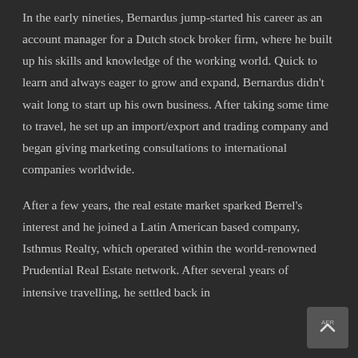In the early nineties, Bernardus jump-started his career as an account manager for a Dutch stock broker firm, where he built up his skills and knowledge of the working world. Quick to learn and always eager to grow and expand, Bernardus didn't wait long to start up his own business. After taking some time to travel, he set up an import/export and trading company and began giving marketing consultations to international companies worldwide.
After a few years, the real estate market sparked Berrel's interest and he joined a Latin American based company, Isthmus Realty, which operated within the world-renowned Prudential Real Estate network. After several years of intensive travelling, he settled back in